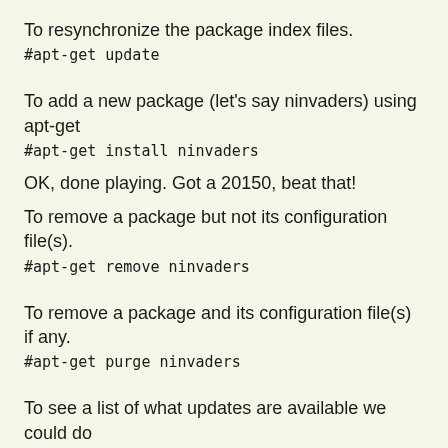To resynchronize the package index files.
#apt-get update
To add a new package (let's say ninvaders) using apt-get
#apt-get install ninvaders
OK, done playing. Got a 20150, beat that!
To remove a package but not its configuration file(s).
#apt-get remove ninvaders
To remove a package and its configuration file(s) if any.
#apt-get purge ninvaders
To see a list of what updates are available we could do